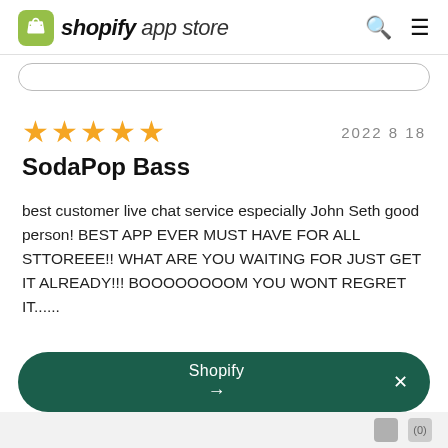shopify app store
2022 8 18
SodaPop Bass
best customer live chat service especially John Seth good person! BEST APP EVER MUST HAVE FOR ALL STTOREEE!! WHAT ARE YOU WAITING FOR JUST GET IT ALREADY!!! BOOOOOOOOM YOU WONT REGRET IT......
Shopify →